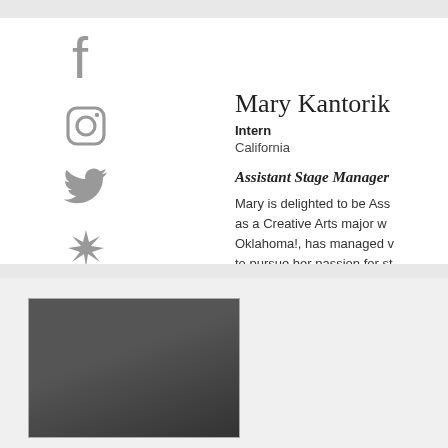[Figure (infographic): Social media icons column: Facebook, Instagram, Twitter, Yelp, YouTube — all in gray]
Mary Kantorik
Intern
California
Assistant Stage Manager
Mary is delighted to be Ass as a Creative Arts major w Oklahoma!, has managed v to pursue her passion for st
[Figure (photo): A photo thumbnail shown at the bottom of the page, dark image]